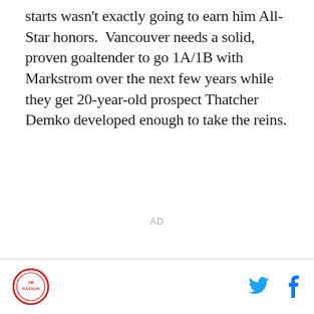starts wasn't exactly going to earn him All-Star honors. Vancouver needs a solid, proven goaltender to go 1A/1B with Markstrom over the next few years while they get 20-year-old prospect Thatcher Demko developed enough to take the reins.
[Figure (other): AD placeholder text in gray]
Logo icon on left, Twitter and Facebook social icons on right